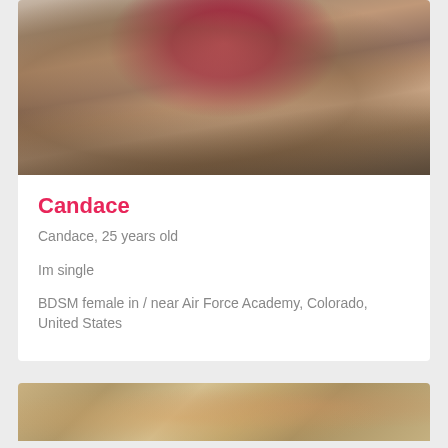[Figure (photo): Close-up photo of a woman with red lipstick putting a finger to her mouth]
Candace
Candace, 25 years old
Im single
BDSM female in / near Air Force Academy, Colorado, United States
[Figure (photo): Partial photo visible at bottom of page showing a person with reddish/blonde hair]